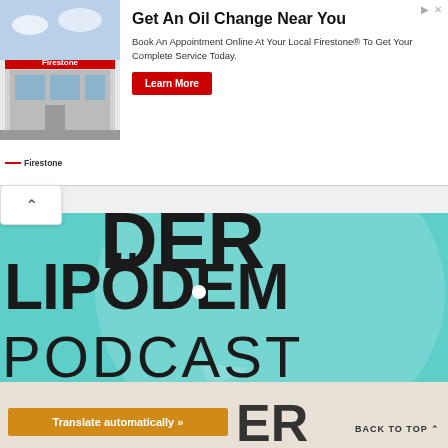[Figure (screenshot): Firestone advertisement banner showing a store exterior image, with headline 'Get An Oil Change Near You', description text, and a red 'Learn More' button]
Get An Oil Change Near You
Book An Appointment Online At Your Local Firestone® To Get Your Complete Service Today.
[Figure (logo): Firestone logo with red dash and brand name]
[Figure (illustration): Lipodem Podcast logo on teal background with large bold black text reading 'DER LIPÖDEM PODCAST']
Translate automatically »
BACK TO TOP ^